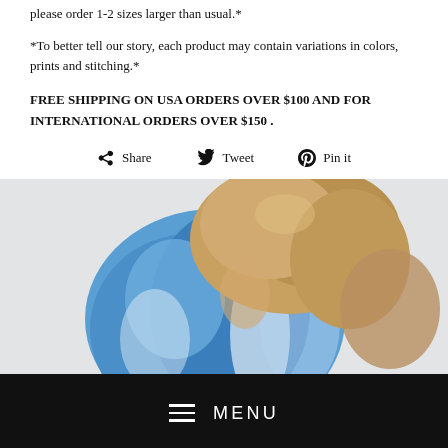please order 1-2 sizes larger than usual.*
*To better tell our story, each product may contain variations in colors, prints and stitching.*
FREE SHIPPING ON USA ORDERS OVER $100 AND FOR INTERNATIONAL ORDERS OVER $150 .
Share  Tweet  Pin it
[Figure (photo): Back view of person wearing a blue and white printed jacket, with wavy brown hair, on a light gray background.]
MENU